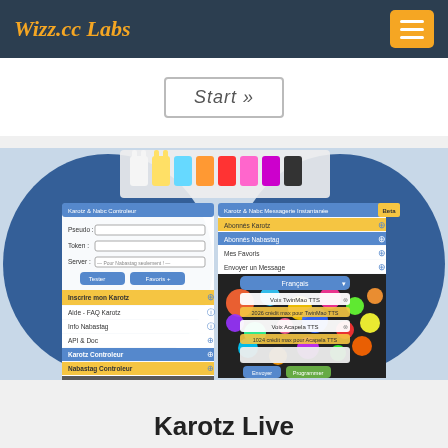Wizz.cc Labs
Start »
[Figure (screenshot): Screenshot of the Karotz & Nabc web interface showing two panels: left panel with login form (Pseudo, Token, Server fields) and menu items (Inscrire mon Karotz, Aide - FAQ Karotz, Info Nabastag, API & Doc, Karotz Controleur, Nabastag Controleur, Ressusciter son ancien V1!), right panel showing Karotz & Nabc Messagerie Instantanee with options (Abonnés Karotz, Abonnés Nabastag, Mes Favoris, Envoyer un Message) and TTS voice selection dropdowns and message composition area. Background shows colorful cartoon rabbits (Karotz) in various colors.]
Karotz Live